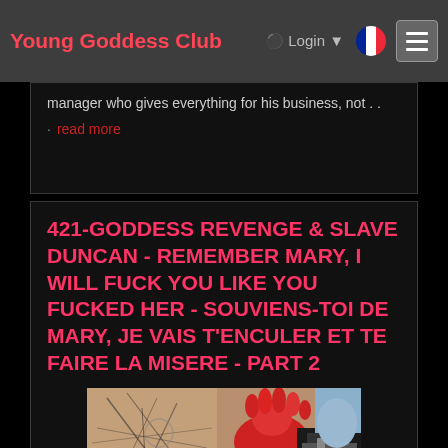Young Goddess Club  Login
manager who gives everything for his business, not . .
read more
421-GODDESS REVENGE & SLAVE DUNCAN - REMEMBER MARY, I WILL FUCK YOU LIKE YOU FUCKED HER - SOUVIENS-TOI DE MARY, JE VAIS T'ENCULER ET TE FAIRE LA MISERE - PART 2
[Figure (photo): Close-up photo showing a tattooed arm/back with red leather glove and black leather clothing]